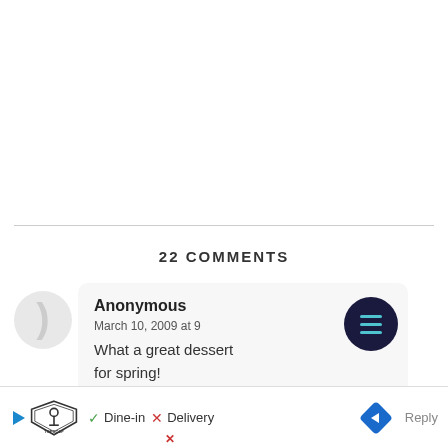22 COMMENTS
Anonymous
March 10, 2009 at 9
What a great dessert for spring!
[Figure (screenshot): Advertisement bar at bottom with TopGolf logo, Dine-in checkmark, X Delivery, navigation arrow button, and Reply text]